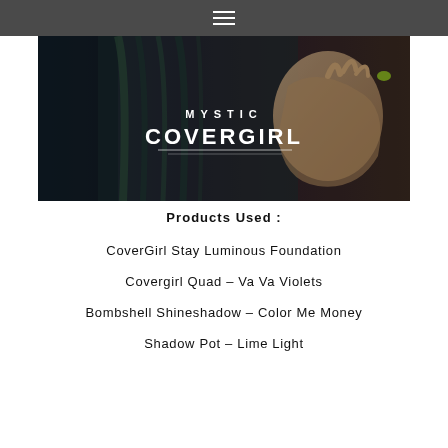≡
[Figure (photo): Hero banner image showing a dark moody photo with a person with long hair partially covering their face, with 'MYSTIC COVERGIRL' text overlay in white]
Products Used :
CoverGirl Stay Luminous Foundation
Covergirl Quad – Va Va Violets
Bombshell Shineshadow – Color Me Money
Shadow Pot  –  Lime Light